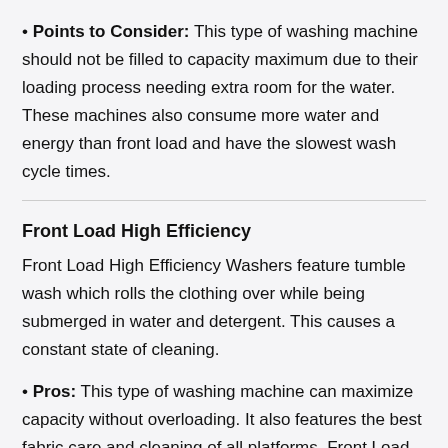Points to Consider: This type of washing machine should not be filled to capacity maximum due to their loading process needing extra room for the water. These machines also consume more water and energy than front load and have the slowest wash cycle times.
Front Load High Efficiency
Front Load High Efficiency Washers feature tumble wash which rolls the clothing over while being submerged in water and detergent. This causes a constant state of cleaning.
Pros: This type of washing machine can maximize capacity without overloading. It also features the best fabric care and cleaning of all platforms. Front Load High Efficiency washing machines are also the most energy efficient, consume the